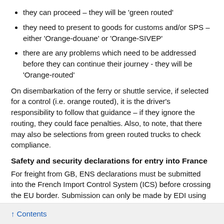they can proceed – they will be 'green routed'
they need to present to goods for customs and/or SPS – either 'Orange-douane' or 'Orange-SIVEP'
there are any problems which need to be addressed before they can continue their journey - they will be 'Orange-routed'
On disembarkation of the ferry or shuttle service, if selected for a control (i.e. orange routed), it is the driver's responsibility to follow that guidance – if they ignore the routing, they could face penalties. Also, to note, that there may also be selections from green routed trucks to check compliance.
Safety and security declarations for entry into France
For freight from GB, ENS declarations must be submitted into the French Import Control System (ICS) before crossing the EU border. Submission can only be made by EDI using certified software (or web portals).
↑ Contents